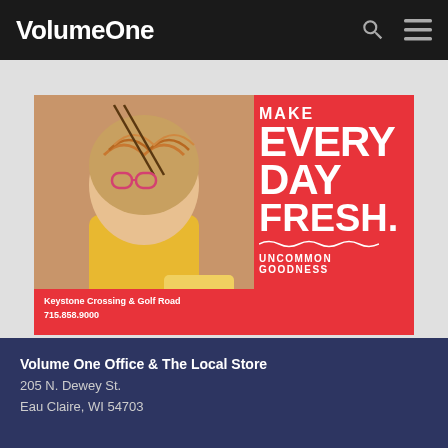VolumeOne
[Figure (photo): Advertisement for Noodles & Company restaurant featuring a woman eating noodles joyfully with text 'MAKE EVERY DAY FRESH.' and 'UNCOMMON GOODNESS', address: Keystone Crossing & Golf Road, 715.858.9000]
Volume One Office & The Local Store
205 N. Dewey St.
Eau Claire, WI 54703